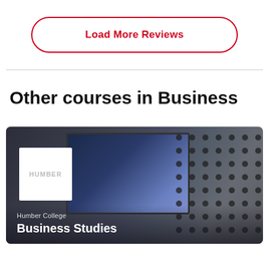Load More Reviews
Other courses in Business
[Figure (photo): Course card image for Business Studies at Humber College, showing a monitor/screen and dot pattern background with a white logo box]
Humber College
Business Studies